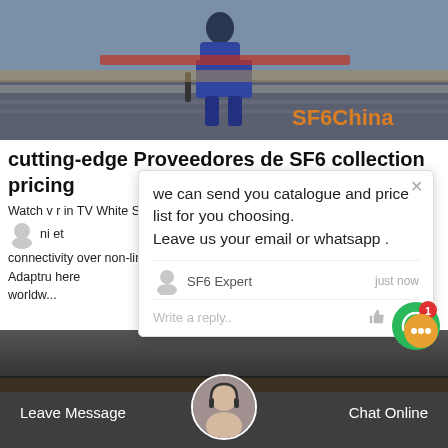[Figure (photo): Hero image showing a worker in blue coveralls at an industrial/railway setting, with 'SF6China' orange text watermark in bottom right]
cutting-edge Proveedores de SF6 collection pricing
Watch ... in TV White Space (... use of ... ni ... connectivity over non-line-of-sight (NLOS) fixed wireless ... Adaptru ... here worldw...
[Figure (screenshot): Chat popup overlay with message: 'we can send you catalogue and price list for you choosing. Leave us your email or whatsapp.' Agent: SF6 Expert, just now. Reply area with thumbs up and paperclip icons.]
[Figure (other): Green circular chat bubble button with notification badge showing '1']
Get Price
[Figure (photo): Bottom section showing dark background with customer service representative avatar/photo]
Leave Message
Chat Online